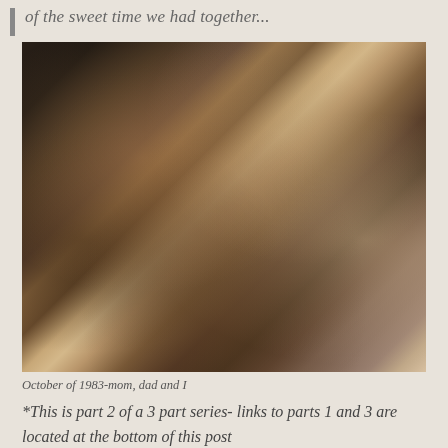of the sweet time we had together...
[Figure (photo): A warm, dimly lit photograph of a mother and father holding a newborn baby together, taken in October 1983. The image has a soft, intimate quality with brown and golden tones.]
October of 1983-mom, dad and I
*This is part 2 of a 3 part series- links to parts 1 and 3 are located at the bottom of this post